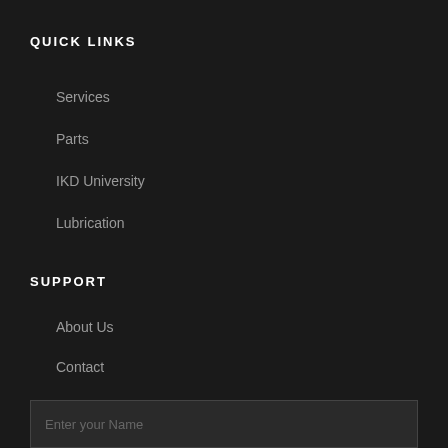QUICK LINKS
Services
Parts
IKD University
Lubrication
SUPPORT
About Us
Contact
Job Application
Enter your Name